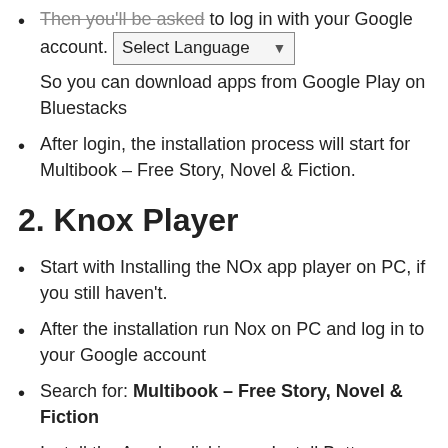Then you'll be asked to log in with your Google account. So you can download apps from Google Play on Bluestacks
After login, the installation process will start for Multibook – Free Story, Novel & Fiction.
2. Knox Player
Start with Installing the NOx app player on PC, if you still haven't.
After the installation run Nox on PC and log in to your Google account
Search for: Multibook – Free Story, Novel & Fiction
Install the App by clicking on Install Button on your Nox emulator
Once installation completed, you will be able to play